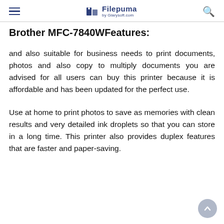Filepuma by Glarysoft.com
Brother MFC-7840WFeatures:
and also suitable for business needs to print documents, photos and also copy to multiply documents you are advised for all users can buy this printer because it is affordable and has been updated for the perfect use.
Use at home to print photos to save as memories with clean results and very detailed ink droplets so that you can store in a long time. This printer also provides duplex features that are faster and paper-saving.